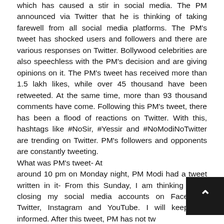which has caused a stir in social media. The PM announced via Twitter that he is thinking of taking farewell from all social media platforms. The PM's tweet has shocked users and followers and there are various responses on Twitter. Bollywood celebrities are also speechless with the PM's decision and are giving opinions on it. The PM's tweet has received more than 1.5 lakh likes, while over 45 thousand have been retweeted. At the same time, more than 93 thousand comments have come. Following this PM's tweet, there has been a flood of reactions on Twitter. With this, hashtags like #NoSir, #Yessir and #NoModiNoTwitter are trending on Twitter. PM's followers and opponents are constantly tweeting.
What was PM's tweet- At
around 10 pm on Monday night, PM Modi had a tweet written in it- From this Sunday, I am thinking about closing my social media accounts on Facebook, Twitter, Instagram and YouTube. I will keep you informed. After this tweet, PM has not tw
till the news is written.